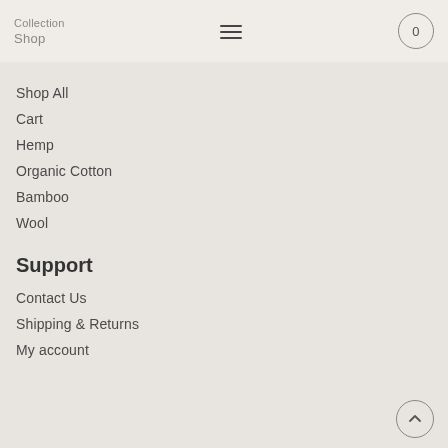Collection / Shop
Shop All
Cart
Hemp
Organic Cotton
Bamboo
Wool
Support
Contact Us
Shipping & Returns
My account